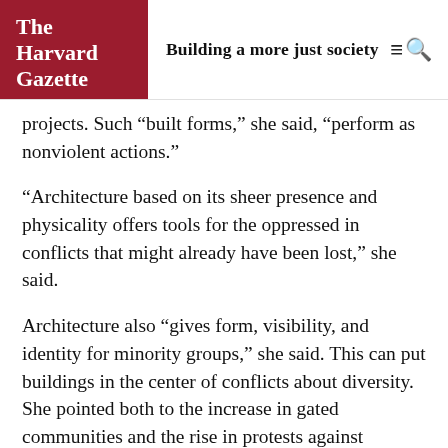The Harvard Gazette | Building a more just society
projects. Such “built forms,” she said, “perform as nonviolent actions.”
“Architecture based on its sheer presence and physicality offers tools for the oppressed in conflicts that might already have been lost,” she said.
Architecture also “gives form, visibility, and identity for minority groups,” she said. This can put buildings in the center of conflicts about diversity. She pointed both to the increase in gated communities and the rise in protests against mosques in this country since 2005. In the case of mosques, she explained, permits are often on the grounds of concerns about noise or parking, rather than Islamophobia. “How can they exercise their democratic rights to religious worship if they don’t even have the plans to present to them?”